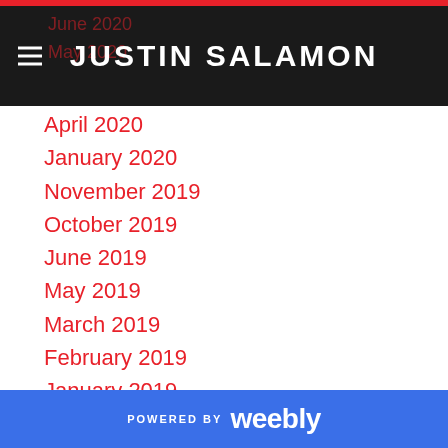JUSTIN SALAMON
June 2020
May 2020
April 2020
January 2020
November 2019
October 2019
June 2019
May 2019
March 2019
February 2019
January 2019
November 2018
October 2018
August 2018
July 2018
May 2018
April 2018
POWERED BY weebly